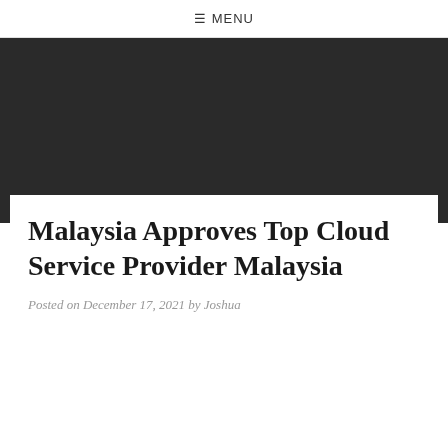≡ MENU
[Figure (other): Dark banner/hero image area with dark gray/charcoal background]
Malaysia Approves Top Cloud Service Provider Malaysia
Posted on December 17, 2021 by Joshua